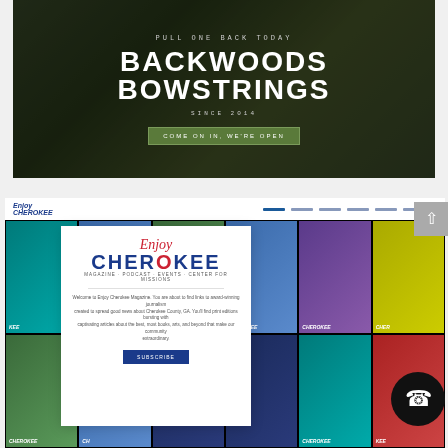[Figure (screenshot): Screenshot of Backwoods Bowstrings website hero section. Dark green/forest background with bow equipment. Text: 'PULL ONE BACK TODAY', 'BACKWOODS BOWSTRINGS', 'SINCE 2014', button 'COME ON IN, WE'RE OPEN']
[Figure (screenshot): Screenshot of Enjoy Cherokee magazine website. Shows navigation bar with logo, a collage of magazine covers in the background, and a floating white card with the Enjoy Cherokee logo, tagline, welcome text, and a SUBSCRIBE button. A phone call button and scroll-up arrow button are also visible.]